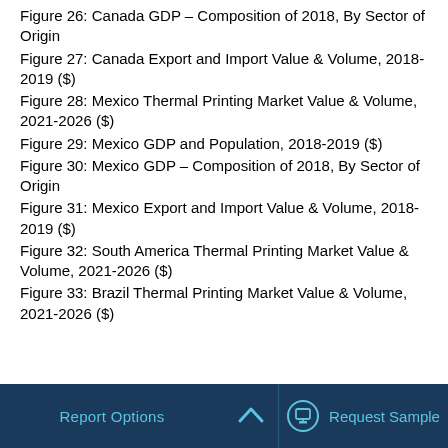Figure 26: Canada GDP – Composition of 2018, By Sector of Origin
Figure 27: Canada Export and Import Value & Volume, 2018-2019 ($)
Figure 28: Mexico Thermal Printing Market Value & Volume, 2021-2026 ($)
Figure 29: Mexico GDP and Population, 2018-2019 ($)
Figure 30: Mexico GDP – Composition of 2018, By Sector of Origin
Figure 31: Mexico Export and Import Value & Volume, 2018-2019 ($)
Figure 32: South America Thermal Printing Market Value & Volume, 2021-2026 ($)
Figure 33: Brazil Thermal Printing Market Value & Volume, 2021-2026 ($)
Report Options   Request Sample